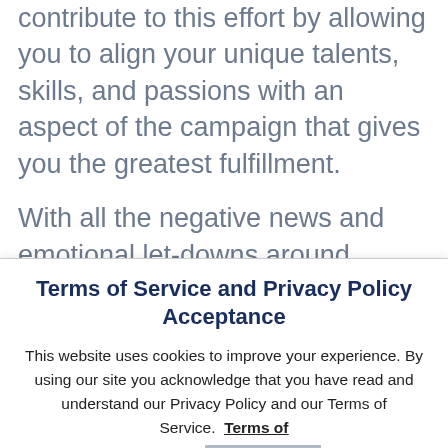contribute to this effort by allowing you to align your unique talents, skills, and passions with an aspect of the campaign that gives you the greatest fulfillment.

With all the negative news and emotional let-downs around climate change lately, this movie is said to be
Terms of Service and Privacy Policy Acceptance
This website uses cookies to improve your experience. By using our site you acknowledge that you have read and understand our Privacy Policy and our Terms of Service. Terms of Service
ACCEPT